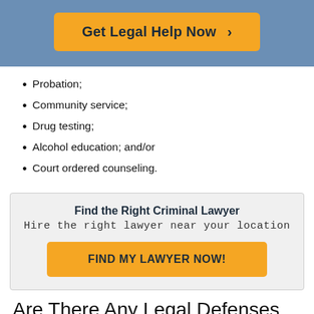[Figure (other): Orange button with text 'Get Legal Help Now >' on a blue banner background]
Probation;
Community service;
Drug testing;
Alcohol education; and/or
Court ordered counseling.
Find the Right Criminal Lawyer
Hire the right lawyer near your location
[Figure (other): Orange button with text 'FIND MY LAWYER NOW!']
Are There Any Legal Defenses To Felony Disorderly Conduct?